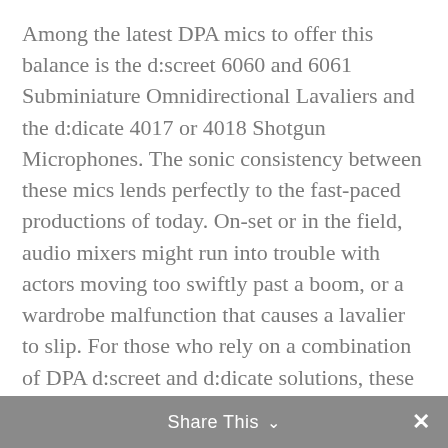Among the latest DPA mics to offer this balance is the d:screet 6060 and 6061 Subminiature Omnidirectional Lavaliers and the d:dicate 4017 or 4018 Shotgun Microphones. The sonic consistency between these mics lends perfectly to the fast-paced productions of today. On-set or in the field, audio mixers might run into trouble with actors moving too swiftly past a boom, or a wardrobe malfunction that causes a lavalier to slip. For those who rely on a combination of DPA d:screet and d:dicate solutions, these potential problems are near non-existent as the audio clarity makes it possible for post mixers to easily swap between audio channels.
Share This ∨ ✕